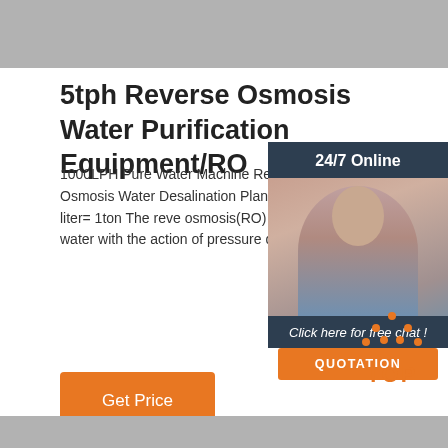[Figure (photo): Gray banner image at top of page (product/header image, partially visible)]
5tph Reverse Osmosis Water Purification Equipment/RO
1000LPH Pure Water Machine Reverse Osmosis System/Inverse Osmosis Water Desalination Plant 1 1gallon=3.785 liter 1m 3 =1000 liter= 1ton The reve osmosis(RO) water treatment plant is an equipment water with the action of pressure difference of semi membrane.
[Figure (photo): Live chat widget showing a woman with headset and dark hair, 24/7 Online label, Click here for free chat, and QUOTATION button]
[Figure (other): TOP scroll-to-top button with orange dot triangle logo above orange TOP text]
[Figure (photo): Gray banner image at bottom of page (partially visible)]